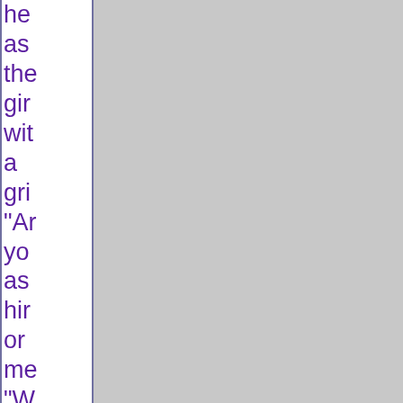he
as
the
gir
wit
a
gri
"Ar
yo
as
hir
or
me
"W
-
uh
-
yo
of